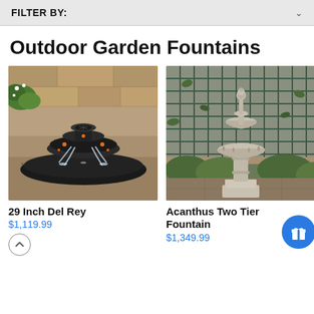FILTER BY:
Outdoor Garden Fountains
[Figure (photo): Black round bowl fountain with cascading water streams, set on a gravel garden background with greenery and stone wall. Product: 29 Inch Del Rey.]
29 Inch Del Rey
$1,119.99
[Figure (photo): Classic two-tier stone birdbath-style garden fountain on a pedestal, set against an iron trellis and green shrubs. Product: Acanthus Two Tier Fountain.]
Acanthus Two Tier Fountain
$1,349.99